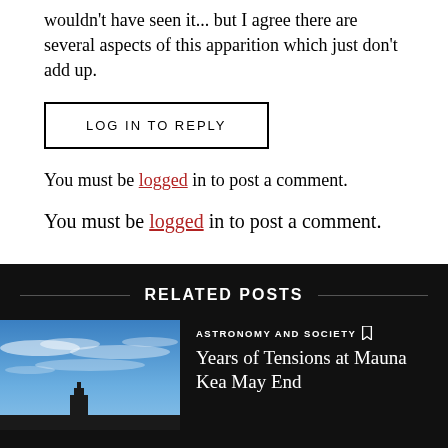wouldn't have seen it... but I agree there are several aspects of this apparition which just don't add up.
LOG IN TO REPLY
You must be logged in to post a comment.
You must be logged in to post a comment.
RELATED POSTS
[Figure (photo): Blue sky with wispy clouds and a building/structure silhouette at the bottom]
ASTRONOMY AND SOCIETY
Years of Tensions at Mauna Kea May End